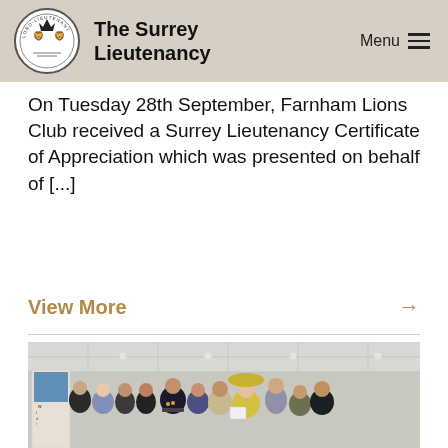The Surrey Lieutenancy
On Tuesday 28th September, Farnham Lions Club received a Surrey Lieutenancy Certificate of Appreciation which was presented on behalf of [...]
View More →
[Figure (photo): Group photo of approximately 12 people standing together indoors in a bright room with a suspended ceiling. One person in the centre is wearing a military/lord-lieutenant uniform with medals. Others are in formal attire. A woman in a yellow dress and ornate hat stands to the right of centre. There is a banner/poster visible on the left side.]